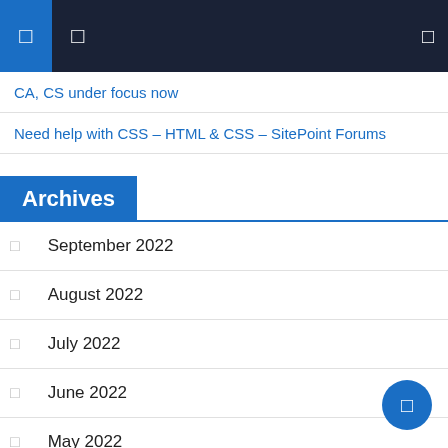[Navigation bar with icons]
CA, CS under focus now
Need help with CSS – HTML & CSS – SitePoint Forums
Archives
September 2022
August 2022
July 2022
June 2022
May 2022